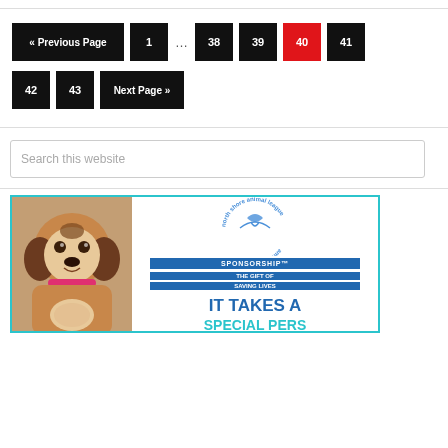« Previous Page
1
...
38
39
40
41
42
43
Next Page »
Search this website
[Figure (illustration): North Shore Animal League America sponsorship advertisement featuring a beagle dog. Text reads 'SPONSORSHIP - THE GIFT OF SAVING LIVES - IT TAKES A SPECIAL PERSON']